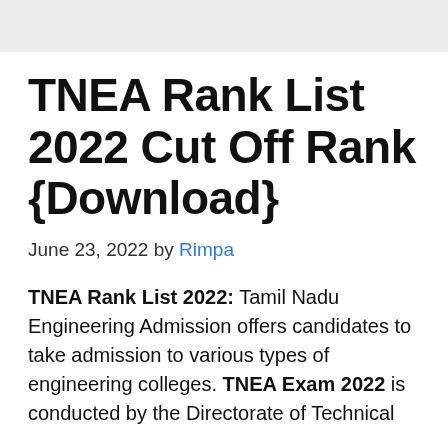TNEA Rank List 2022 Cut Off Rank {Download}
June 23, 2022 by Rimpa
TNEA Rank List 2022: Tamil Nadu Engineering Admission offers candidates to take admission to various types of engineering colleges. TNEA Exam 2022 is conducted by the Directorate of Technical